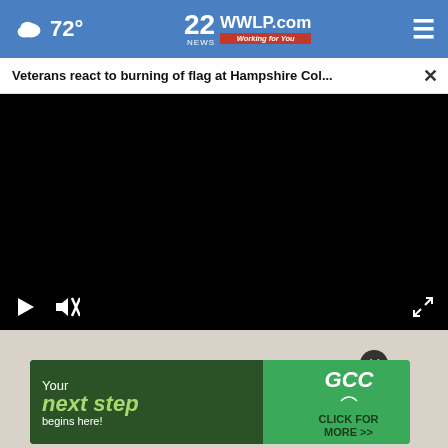72° WWLP.com Working for You
Veterans react to burning of flag at Hampshire Col... ×
[Figure (screenshot): Black video player area with play button and mute button controls at bottom left, and fullscreen button at bottom right]
[Figure (photo): People standing in a room, partial view below video player]
[Figure (infographic): GCC advertisement: Your next step begins here! Click for more >>]